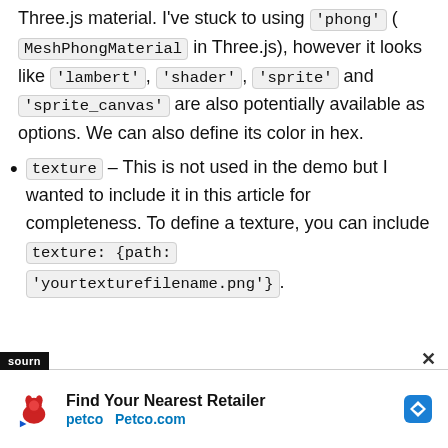Three.js material. I've stuck to using 'phong' (MeshPhongMaterial in Three.js), however it looks like 'lambert', 'shader', 'sprite' and 'sprite_canvas' are also potentially available as options. We can also define its color in hex.
texture – This is not used in the demo but I wanted to include it in this article for completeness. To define a texture, you can include texture: {path: 'yourtexturefilename.png'}.
SOURN  ×  Find Your Nearest Retailer  petco  Petco.com